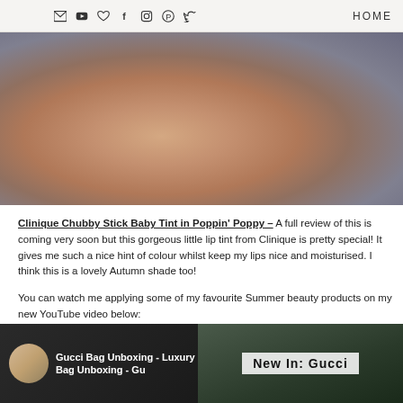HOME
[Figure (photo): Close-up blurred photo of fingers/nails holding a lip product, with grey/taupe background]
Clinique Chubby Stick Baby Tint in Poppin' Poppy – A full review of this is coming very soon but this gorgeous little lip tint from Clinique is pretty special! It gives me such a nice hint of colour whilst keep my lips nice and moisturised. I think this is a lovely Autumn shade too!
You can watch me applying some of my favourite Summer beauty products on my new YouTube video below:
[Figure (screenshot): YouTube video thumbnail showing 'Gucci Bag Unboxing - Luxury Bag Unboxing - Gu...' with a blonde woman avatar on the left and 'New In: Gucci' overlay on the right side]